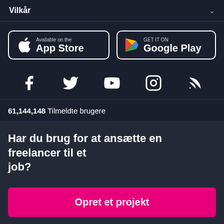Vilkår
[Figure (logo): App Store and Google Play store buttons]
[Figure (infographic): Social media icons: Facebook, Twitter, YouTube, Instagram, RSS]
61,144,148 Tilmeldte brugere
Har du brug for at ansætte en freelancer til et job?
Opret et projekt